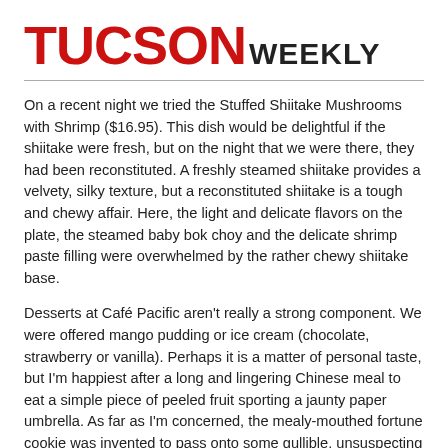TUCSON WEEKLY
On a recent night we tried the Stuffed Shiitake Mushrooms with Shrimp ($16.95). This dish would be delightful if the shiitake were fresh, but on the night that we were there, they had been reconstituted. A freshly steamed shiitake provides a velvety, silky texture, but a reconstituted shiitake is a tough and chewy affair. Here, the light and delicate flavors on the plate, the steamed baby bok choy and the delicate shrimp paste filling were overwhelmed by the rather chewy shiitake base.
Desserts at Café Pacific aren't really a strong component. We were offered mango pudding or ice cream (chocolate, strawberry or vanilla). Perhaps it is a matter of personal taste, but I'm happiest after a long and lingering Chinese meal to eat a simple piece of peeled fruit sporting a jaunty paper umbrella. As far as I'm concerned, the mealy-mouthed fortune cookie was invented to pass onto some gullible, unsuspecting soul.